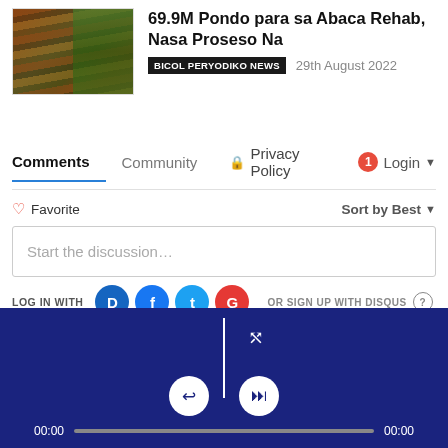[Figure (photo): Photo of abaca plant stalks with reddish-brown trunks and green leaves]
69.9M Pondo para sa Abaca Rehab, Nasa Proseso Na
BICOL PERYODIKO NEWS   29th August 2022
Comments   Community   Privacy Policy   Login
♡ Favorite   Sort by Best
Start the discussion…
LOG IN WITH
OR SIGN UP WITH DISQUS
[Figure (screenshot): Media player bar with dark blue background, playback controls, progress bar showing 00:00, and shuffle icon]